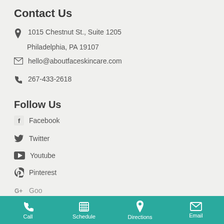Contact Us
1015 Chestnut St., Suite 1205
Philadelphia, PA 19107
hello@aboutfaceskincare.com
267-433-2618
Follow Us
Facebook
Twitter
Youtube
Pinterest
Google
Call  Schedule  Directions  Email